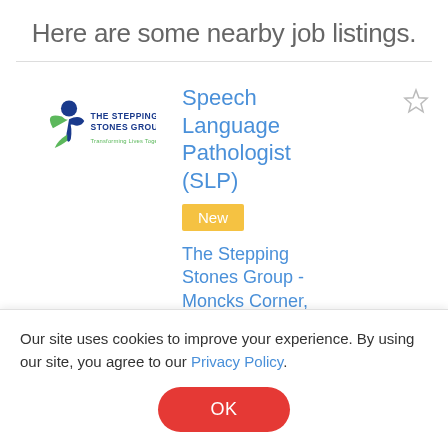Here are some nearby job listings.
[Figure (logo): The Stepping Stones Group logo with tagline 'Transforming Lives Together']
Speech Language Pathologist (SLP)
New
The Stepping Stones Group - Moncks Corner, SC
[Figure (logo): The Stepping Stones Group logo (partial, second listing)]
CF Speech
Our site uses cookies to improve your experience. By using our site, you agree to our Privacy Policy.
OK